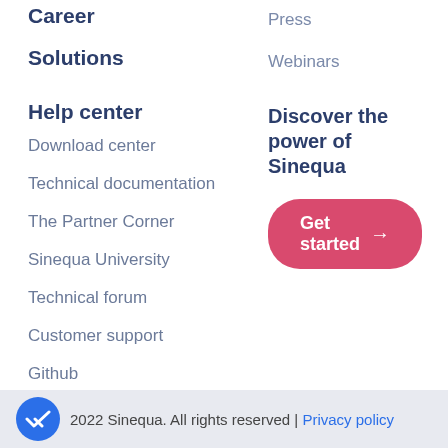Career
Solutions
Press
Webinars
Help center
Discover the power of Sinequa
Download center
Technical documentation
The Partner Corner
Sinequa University
Technical forum
Customer support
Github
[Figure (other): Pink rounded button with text 'Get started' and arrow]
2022 Sinequa. All rights reserved | Privacy policy